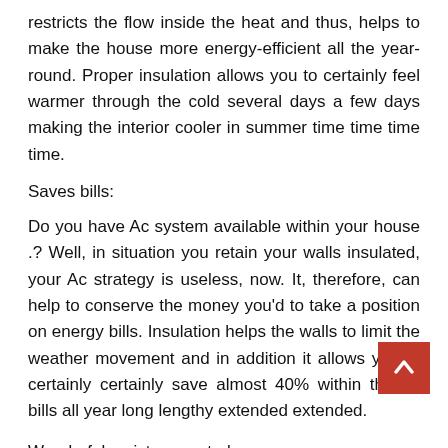restricts the flow inside the heat and thus, helps to make the house more energy-efficient all the year-round. Proper insulation allows you to certainly feel warmer through the cold several days a few days making the interior cooler in summer time time time time.
Saves bills:
Do you have Ac system available within your house .? Well, in situation you retain your walls insulated, your Ac strategy is useless, now. It, therefore, can help to conserve the money you'd to take a position on energy bills. Insulation helps the walls to limit the weather movement and in addition it allows you to certainly certainly save almost 40% within the ac bills all year long lengthy extended extended.
Wonderful moisture control: